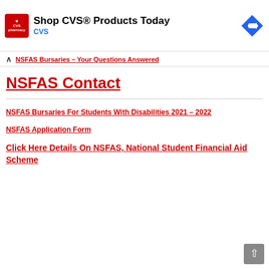[Figure (other): CVS Pharmacy advertisement banner with red logo, text 'Shop CVS® Products Today', blue 'CVS' subtext, and blue navigation arrow icon on the right]
NSFAS Bursaries – Your Questions Answered
NSFAS Contact
NSFAS Bursaries For Students With Disabilities 2021 – 2022
NSFAS Application Form
Click Here Details On NSFAS, National Student Financial Aid Scheme